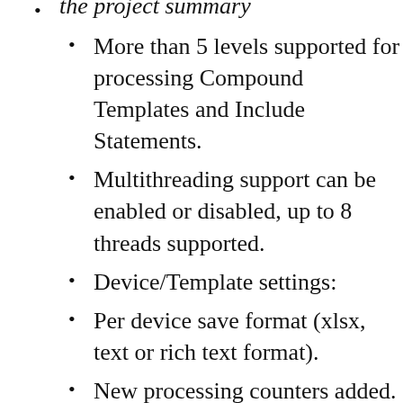the project summary
More than 5 levels supported for processing Compound Templates and Include Statements.
Multithreading support can be enabled or disabled, up to 8 threads supported.
Device/Template settings:
Per device save format (xlsx, text or rich text format).
New processing counters added.
Per device summary now displays more information.